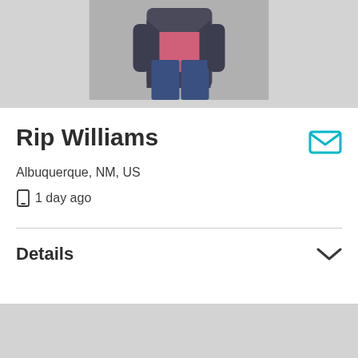[Figure (photo): Person wearing a grey blazer, pink shirt, and jeans, photographed from chest down against a grey background]
Rip Williams
Albuquerque, NM, US
1 day ago
Details